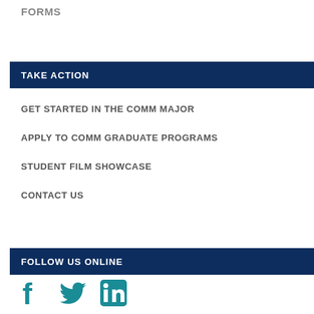FORMS
TAKE ACTION
GET STARTED IN THE COMM MAJOR
APPLY TO COMM GRADUATE PROGRAMS
STUDENT FILM SHOWCASE
CONTACT US
FOLLOW US ONLINE
[Figure (illustration): Social media icons: Facebook, Twitter, LinkedIn in teal color]